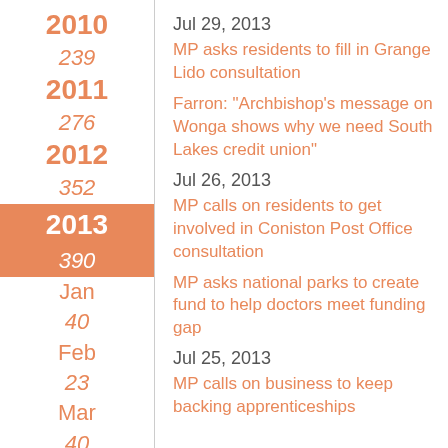2010
239
2011
276
2012
352
2013
390
Jan
40
Feb
23
Mar
40
Jul 29, 2013
MP asks residents to fill in Grange Lido consultation
Farron: "Archbishop's message on Wonga shows why we need South Lakes credit union"
Jul 26, 2013
MP calls on residents to get involved in Coniston Post Office consultation
MP asks national parks to create fund to help doctors meet funding gap
Jul 25, 2013
MP calls on business to keep backing apprenticeships